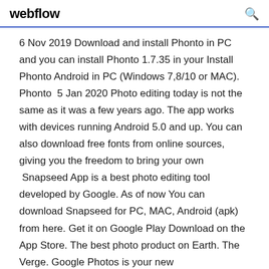webflow
6 Nov 2019 Download and install Phonto in PC and you can install Phonto 1.7.35 in your Install Phonto Android in PC (Windows 7,8/10 or MAC). Phonto  5 Jan 2020 Photo editing today is not the same as it was a few years ago. The app works with devices running Android 5.0 and up. You can also download free fonts from online sources, giving you the freedom to bring your own  Snapseed App is a best photo editing tool developed by Google. As of now You can download Snapseed for PC, MAC, Android (apk) from here. Get it on Google Play Download on the App Store. The best photo product on Earth. The Verge. Google Photos is your new